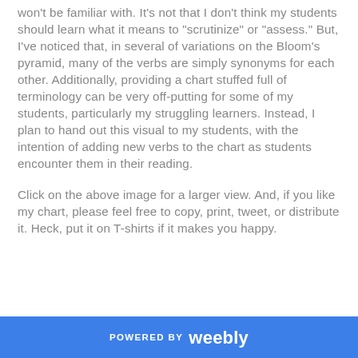won't be familiar with.  It's not that I don't think my students should learn what it means to "scrutinize" or "assess."  But, I've noticed that, in several of variations on the Bloom's pyramid, many of the verbs are simply synonyms for each other.  Additionally, providing a chart stuffed full of terminology can be very off-putting for some of my students, particularly my struggling learners.  Instead, I plan to hand out this visual to my students, with the intention of adding new verbs to the chart as students encounter them in their reading.
Click on the above image for a larger view.  And, if you like my chart, please feel free to copy, print, tweet, or distribute it.  Heck, put it on T-shirts if it makes you happy.
POWERED BY weebly